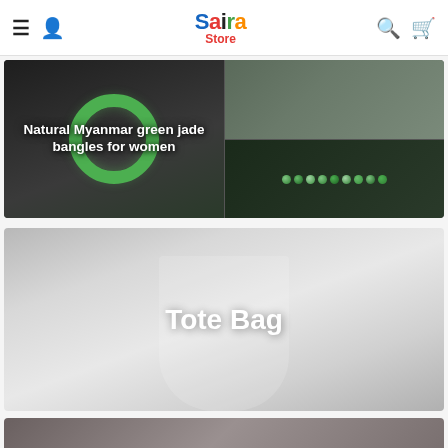Saira Store — navigation header with menu, user, search, cart icons
[Figure (photo): Product listing image for Natural Myanmar green jade bangles for women, showing a jade bangle ring and jade beads on dark background]
Natural Myanmar green jade bangles for women
[Figure (photo): Product category banner for Tote Bag, showing a light gray tote bag on light background]
Tote Bag
[Figure (photo): Partial view of a third product card at the bottom of the page]